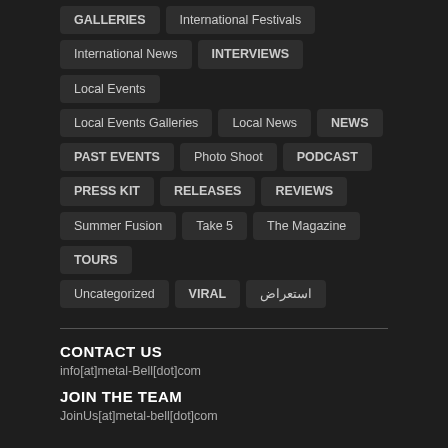GALLERIES
International Festivals
International News
INTERVIEWS
Local Events
Local Events Galleries
Local News
NEWS
PAST EVENTS
Photo Shoot
PODCAST
PRESS KIT
RELEASES
REVIEWS
Summer Fusion
Take 5
The Magazine
TOURS
Uncategorized
VIRAL
استعراض
CONTACT US
info[at]metal-Bell[dot]com
JOIN THE TEAM
JoinUs[at]metal-bell[dot]com